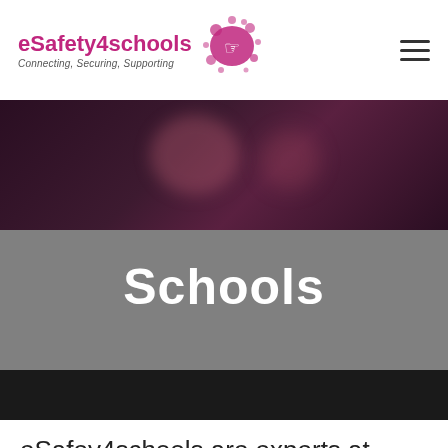eSafety4schools – Connecting, Securing, Supporting
[Figure (photo): Dark background photo band showing blurred scene]
Schools
eSafey4schools are experts at supplying Secure Internet